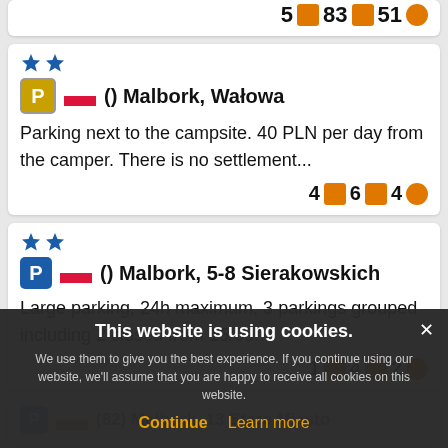5  83  51
[Figure (screenshot): Card with 2 blue stars, parking icon (yellow P), Polish flag, title () Malbork, Wałowa. Description: Parking next to the campsite. 40 PLN per day from the camper. There is no settlement... Stats: 4 photo icon, 6 chat icon, 4 smiley icon.]
[Figure (screenshot): Card with 2 blue stars, parking icon (blue P), Polish flag, title () Malbork, 5-8 Sierakowskich. Description: Large parking, 24h maximum, 3 parkings grouped including 2 closed from 15/09.... Stats: 1 photo icon, 4 chat icon, 2 smiley icon.]
[Figure (screenshot): Partially visible card with parking icon (blue P), Polish flag, title (82) Malbork, 13 Stare Miasto. Obscured by cookie banner.]
This website is using cookies. We use them to give you the best experience. If you continue using our website, we'll assume that you are happy to receive all cookies on this website. Continue  Learn more